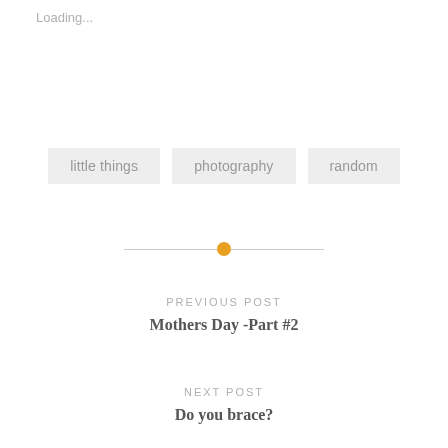Loading...
little things
photography
random
[Figure (other): Decorative horizontal divider with orange circle in center]
PREVIOUS POST
Mothers Day -Part #2
NEXT POST
Do you brace?